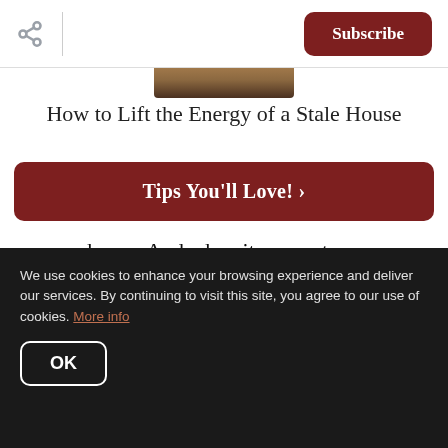Subscribe
[Figure (photo): Partial image visible at top center of the page]
How to Lift the Energy of a Stale House
Tips You'll Love! >
on your home. And when it comes to your home, it's that same, low-price-seeking excitement that will cause many more buyers
We use cookies to enhance your browsing experience and deliver our services. By continuing to visit this site, you agree to our use of cookies. More info
OK